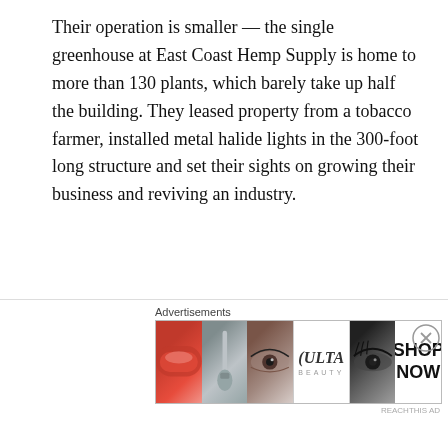Their operation is smaller — the single greenhouse at East Coast Hemp Supply is home to more than 130 plants, which barely take up half the building. They leased property from a tobacco farmer, installed metal halide lights in the 300-foot long structure and set their sights on growing their business and reviving an industry.
Harnett County already has four major industrial hemp growers that have converted over primarily from tobacco and have remechanized their equipment for hemp.
[Figure (other): An advertisement banner labeled 'Advertisements' showing a collage of cosmetic/makeup images (lips with red lipstick, a makeup brush, a close-up eye, the Ulta Beauty logo, another eye with dramatic makeup) and a 'SHOP NOW' call to action. There is a close/dismiss button (circled X) to the right.]